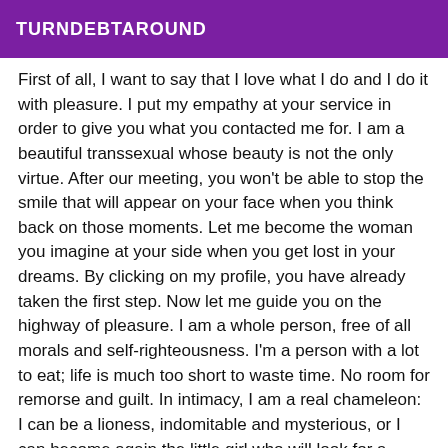TURNDEBTAROUND
First of all, I want to say that I love what I do and I do it with pleasure. I put my empathy at your service in order to give you what you contacted me for. I am a beautiful transsexual whose beauty is not the only virtue. After our meeting, you won't be able to stop the smile that will appear on your face when you think back on those moments. Let me become the woman you imagine at your side when you get lost in your dreams. By clicking on my profile, you have already taken the first step. Now let me guide you on the highway of pleasure. I am a whole person, free of all morals and self-righteousness. I'm a person with a lot to eat; life is much too short to waste time. No room for remorse and guilt. In intimacy, I am a real chameleon: I can be a lioness, indomitable and mysterious, or I can become again the little girl who will look for a reassuring caress in your hands. We are all singular beings and each encounter is unique. I hope